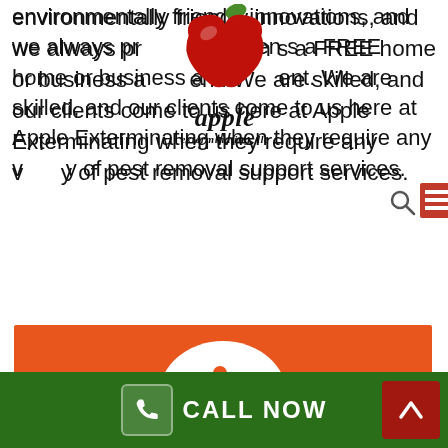environmentally friendly innovations, and we always provide our clients a FREE home or business assessment. We are skilled, and our clients come to us here at Apple Exterminating when they require any variety of pest removal support services.
[Figure (logo): Apple Exterminating LLC logo — red apple with 'apple exterminating, llc' text]
[Figure (infographic): Orange card section with white circle containing pest control worker icon, heading FAST PEST REMOVAL, subtext: Your work will be completed swiftly]
FAST PEST REMOVAL
Your work will be completed swiftly
CALL NOW